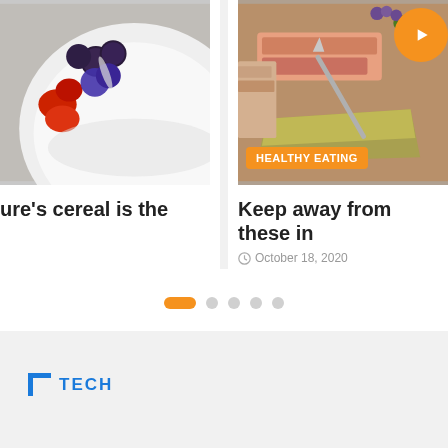[Figure (photo): Left card: bowl with berries (blueberries, raspberries, blackberries) - article image, title text 'ure’s cereal is the' visible below]
[Figure (photo): Right card: food platter/charcuterie board with ham, cheese, olives, nuts; orange play button in top right corner; orange 'HEALTHY EATING' badge at bottom; title 'Keep away from these in' and date 'October 18, 2020' below]
ure’s cereal is the
Keep away from these in
October 18, 2020
TECH